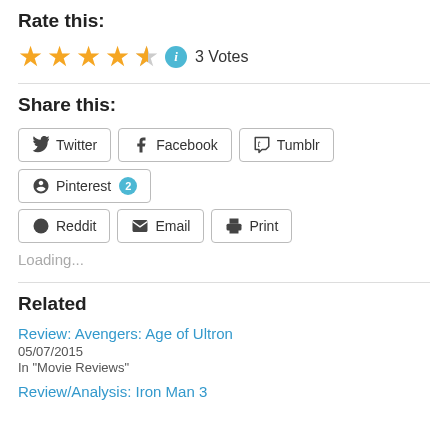Rate this:
★★★★½ ⓘ 3 Votes
Share this:
Twitter  Facebook  Tumblr  Pinterest 2  Reddit  Email  Print
Loading...
Related
Review: Avengers: Age of Ultron
05/07/2015
In "Movie Reviews"
Review/Analysis: Iron Man 3